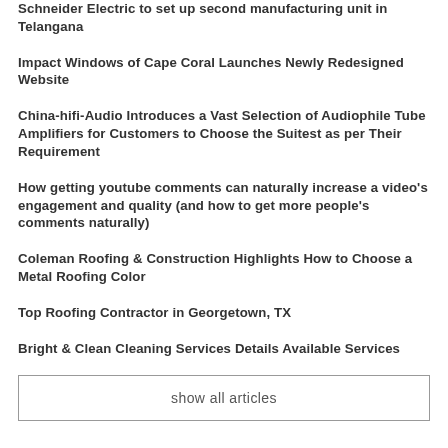Schneider Electric to set up second manufacturing unit in Telangana
Impact Windows of Cape Coral Launches Newly Redesigned Website
China-hifi-Audio Introduces a Vast Selection of Audiophile Tube Amplifiers for Customers to Choose the Suitest as per Their Requirement
How getting youtube comments can naturally increase a video's engagement and quality (and how to get more people's comments naturally)
Coleman Roofing & Construction Highlights How to Choose a Metal Roofing Color
Top Roofing Contractor in Georgetown, TX
Bright & Clean Cleaning Services Details Available Services
show all articles
CATEGORIES